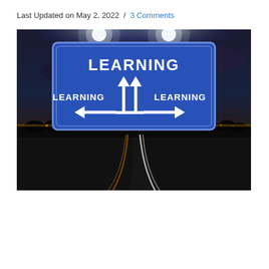Last Updated on May 2, 2022  /  3 Comments
[Figure (photo): A blue highway sign with the word LEARNING at the top and three arrows: left arrow labeled LEARNING, two upward arrows in the center, and a right arrow labeled LEARNING. The sign is photographed at night above a highway with light trails, set against a dramatic twilight sky.]